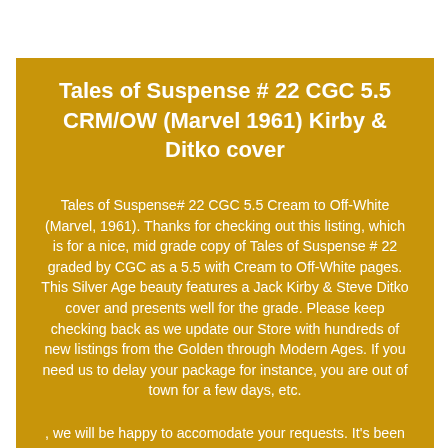Tales of Suspense # 22 CGC 5.5 CRM/OW (Marvel 1961) Kirby & Ditko cover
Tales of Suspense# 22 CGC 5.5 Cream to Off-White (Marvel, 1961). Thanks for checking out this listing, which is for a nice, mid grade copy of Tales of Suspense # 22 graded by CGC as a 5.5 with Cream to Off-White pages. This Silver Age beauty features a Jack Kirby & Steve Ditko cover and presents well for the grade. Please keep checking back as we update our Store with hundreds of new listings from the Golden through Modern Ages. If you need us to delay your package for instance, you are out of town for a few days, etc.
, we will be happy to accomodate your requests. It's been great seeing the Copper Age comics of my youth finally get the recognition they deserve by a new...